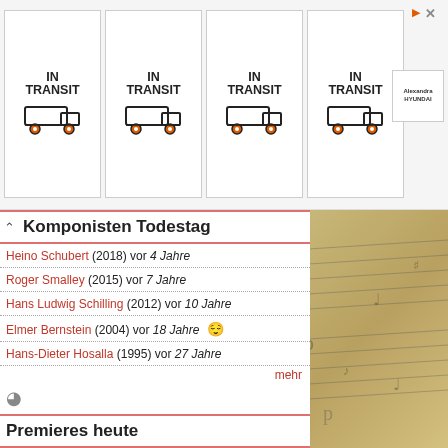[Figure (illustration): Advertisement banner with four 'IN TRANSIT' truck icons in grid cells, and a small Hyundai logo to the right, with a triangular play/arrow icon at top right corner.]
Komponisten Todestag
Heino Schubert (2018) vor 4 Jahre
Roger Smalley (2015) vor 7 Jahre
Hans Ludwig Schilling (2012) vor 10 Jahre
Elmer Bernstein (2004) vor 18 Jahre
Hans-Dieter Hosalla (1995) vor 27 Jahre
mehr
Premieres heute
Franz Schreker (1912) vor 110 Jahre
Premiere of Die Ferne Klang, in Frankfurt am Main, Germany.
Rodion Schtschedrin (1988) vor 34 Jahre
Premiere of Stichyra..., in Moscow, Russia.